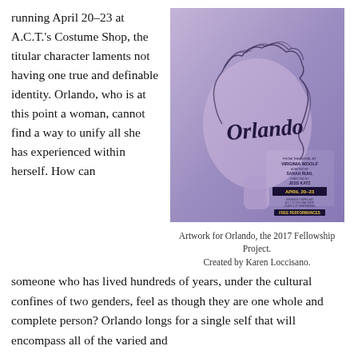running April 20–23 at A.C.T.'s Costume Shop, the titular character laments not having one true and definable identity. Orlando, who is at this point a woman, cannot find a way to unify all she has experienced within herself. How can
[Figure (illustration): Poster artwork for Orlando, a 2017 Fellowship Project production. Shows a stylized abstract face silhouette in purple/blue tones with curling hair lines and the title 'Orlando' in script lettering. Credits include Virginia Woolf (novel), Sarah Ruhl (adapted by), Jess Katz (directed by), April 20-23 dates shown on a dark banner.]
Artwork for Orlando, the 2017 Fellowship Project.
Created by Karen Loccisano.
someone who has lived hundreds of years, under the cultural confines of two genders, feel as though they are one whole and complete person? Orlando longs for a single self that will encompass all of the varied and